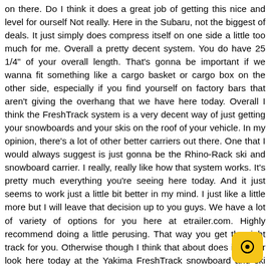on there. Do I think it does a great job of getting this nice and level for ourself Not really. Here in the Subaru, not the biggest of deals. It just simply does compress itself on one side a little too much for me. Overall a pretty decent system. You do have 25 1/4" of your overall length. That's gonna be important if we wanna fit something like a cargo basket or cargo box on the other side, especially if you find yourself on factory bars that aren't giving the overhang that we have here today. Overall I think the FreshTrack system is a very decent way of just getting your snowboards and your skis on the roof of your vehicle. In my opinion, there's a lot of other better carriers out there. One that I would always suggest is just gonna be the Rhino-Rack ski and snowboard carrier. I really, really like how that system works. It's pretty much everything you're seeing here today. And it just seems to work just a little bit better in my mind. I just like a little more but I will leave that decision up to you guys. We have a lot of variety of options for you here at etrailer.com. Highly recommend doing a little perusing. That way you get the right track for you. Otherwise though I think that about does it for our look here today at the Yakima FreshTrack snowboard and ski carrier for four skis or two boards here on our 2022 Subaru Outback Wilderness. I'm Bobby. Thank you for watching..
[Figure (other): Yellow rounded square chat/comment button icon in the bottom right corner]